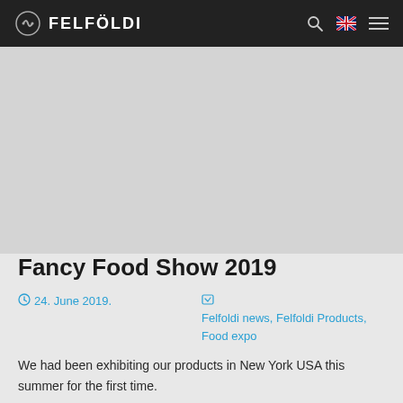Felfoldi
[Figure (photo): Gray placeholder image area for Fancy Food Show 2019]
Fancy Food Show 2019
24. June 2019.
Felfoldi news, Felfoldi Products, Food expo
We had been exhibiting our products in New York USA this summer for the first time.